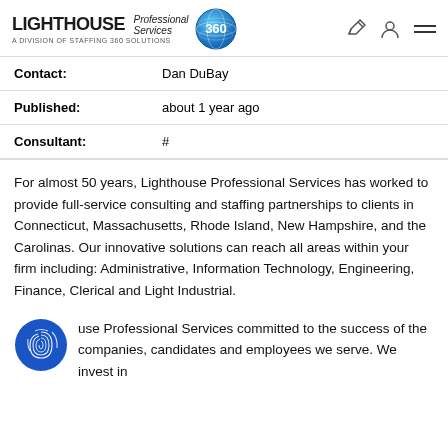Lighthouse Professional Services — A Division of Staffing 360 Solutions
| Contact: | Dan DuBay |
| Published: | about 1 year ago |
| Consultant: | # |
For almost 50 years, Lighthouse Professional Services has worked to provide full-service consulting and staffing partnerships to clients in Connecticut, Massachusetts, Rhode Island, New Hampshire, and the Carolinas. Our innovative solutions can reach all areas within your firm including: Administrative, Information Technology, Engineering, Finance, Clerical and Light Industrial.
use Professional Services committed to the success of the companies, candidates and employees we serve. We invest in